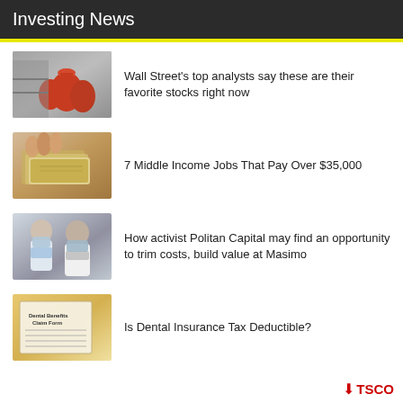Investing News
[Figure (photo): Home Depot store interior with red propane tanks]
Wall Street's top analysts say these are their favorite stocks right now
[Figure (photo): Hands holding cash money bills]
7 Middle Income Jobs That Pay Over $35,000
[Figure (photo): Two people wearing masks, possibly medical workers]
How activist Politan Capital may find an opportunity to trim costs, build value at Masimo
[Figure (photo): Dental Benefits Claim Form document]
Is Dental Insurance Tax Deductible?
TSCO